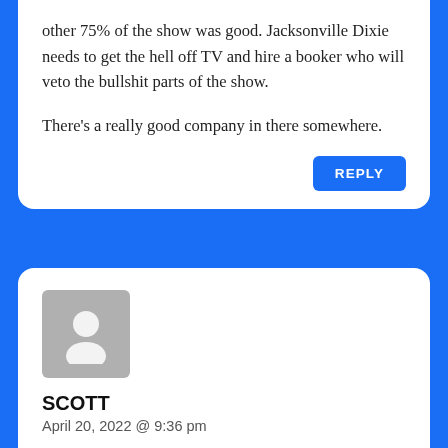other 75% of the show was good. Jacksonville Dixie needs to get the hell off TV and hire a booker who will veto the bullshit parts of the show.
There's a really good company in there somewhere.
REPLY
[Figure (illustration): Generic user avatar placeholder image, grey background with white silhouette of a person]
SCOTT
April 20, 2022 @ 9:36 pm
TheGreatestOne is the shit and needs to get off ProWrestling.net and get someone with an unbiased opinion.